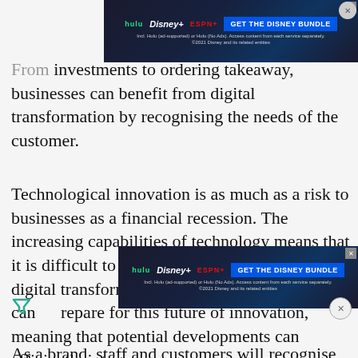[Figure (screenshot): Disney Bundle advertisement banner (Hulu, Disney+, ESPN+) with blue CTA button 'GET THE DISNEY BUNDLE' and small print text, with close button.]
From ... investments to ordering takeaway, businesses can benefit from digital transformation by recognising the needs of the customer.
Technological innovation is as much as a risk to businesses as a financial recession. The increasing capabilities of technology means that it is difficult to predict future sector changes. A digital transformation is the only way a business can prepare for this future of innovation, meaning that potential developments can efficiently integr...
[Figure (screenshot): Second Disney Bundle advertisement banner (Hulu, Disney+, ESPN+) with blue CTA button 'GET THE DISNEY BUNDLE' and small print text, with close button.]
As a brand, staff and customers will recognise the...